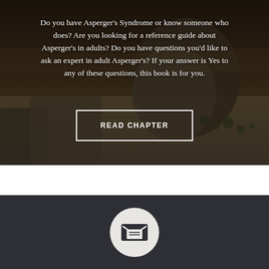[Figure (photo): Dark landscape photo showing rocky terrain with a large boulder and distant hills under a dramatic sky, serving as background for book promotional text]
Do you have Asperger's Syndrome or know someone who does? Are you looking for a reference guide about Asperger's in adults? Do you have questions you'd like to ask an expert in adult Asperger's? If your answer is Yes to any of these questions, this book is for you.
READ CHAPTER
[Figure (illustration): Email/newsletter icon: open envelope with letter inside, displayed in a circular light gray button on a dark charcoal background]